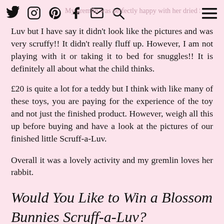My gremlin was perfectly happy with her dried Scruff-a-Luv [social media icons]
Luv but I have say it didn't look like the pictures and was very scruffy!! It didn't really fluff up. However, I am not playing with it or taking it to bed for snuggles!! It is definitely all about what the child thinks.
£20 is quite a lot for a teddy but I think with like many of these toys, you are paying for the experience of the toy and not just the finished product. However, weigh all this up before buying and have a look at the pictures of our finished little Scruff-a-Luv.
Overall it was a lovely activity and my gremlin loves her rabbit.
Would You Like to Win a Blossom Bunnies Scruff-a-Luv?